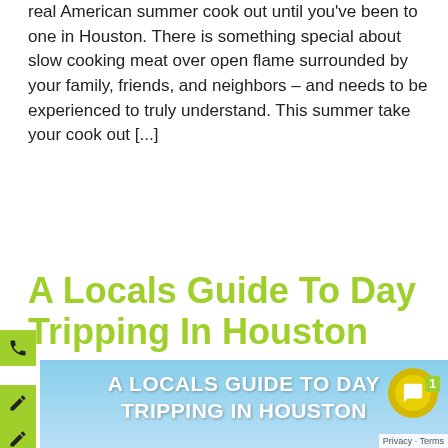real American summer cook out until you've been to one in Houston. There is something special about slow cooking meat over open flame surrounded by your family, friends, and neighbors – and needs to be experienced to truly understand. This summer take your cook out [...]
A Locals Guide To Day Tripping In Houston
[Figure (photo): Banner image showing a long straight road stretching into the horizon under a blue sky with text overlay reading 'A LOCALS GUIDE TO DAY TRIPPING IN HOUSTON' in white bold letters]